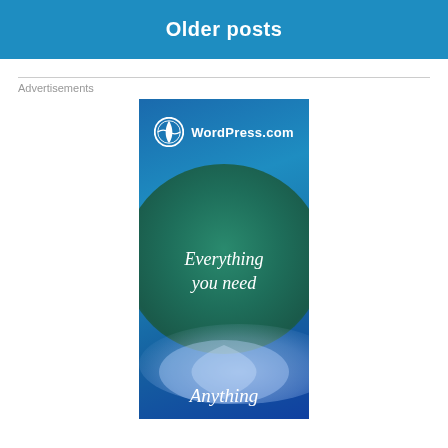Older posts
Advertisements
[Figure (illustration): WordPress.com advertisement banner showing logo at top, a teal/green ellipse shape in the middle with text 'Everything you need', a light leaf/eye shape below, and 'Anything' text at the bottom, all on a blue gradient background.]